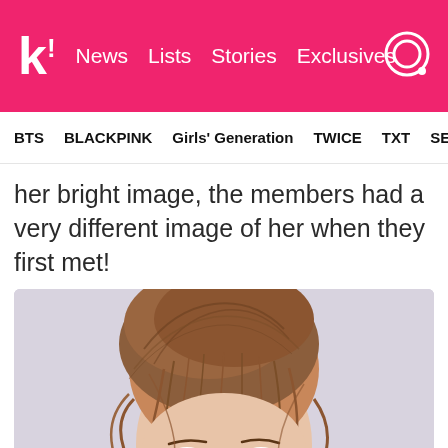k! News  Lists  Stories  Exclusives
BTS  BLACKPINK  Girls' Generation  TWICE  TXT  SEVE
her bright image, the members had a very different image of her when they first met!
[Figure (photo): Close-up portrait photo of a young Asian woman with brown hair pulled up in a loose bun with wispy bangs, looking slightly to the side with a neutral/subtle expression, against a pale lavender-grey background.]